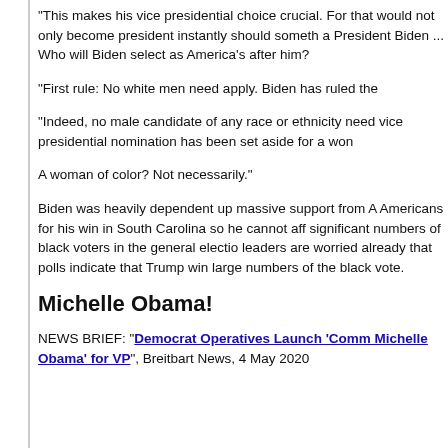"This makes his vice presidential choice crucial. For that would not only become president instantly should someth a President Biden ... Who will Biden select as America's after him?
"First rule: No white men need apply. Biden has ruled the
"Indeed, no male candidate of any race or ethnicity need vice presidential nomination has been set aside for a won
A woman of color? Not necessarily."
Biden was heavily dependent up massive support from A Americans for his win in South Carolina so he cannot aff significant numbers of black voters in the general electio leaders are worried already that polls indicate that Trump win large numbers of the black vote.
Michelle Obama!
NEWS BRIEF: "Democrat Operatives Launch ‘Comm Michelle Obama’ for VP", Breitbart News, 4 May 2020